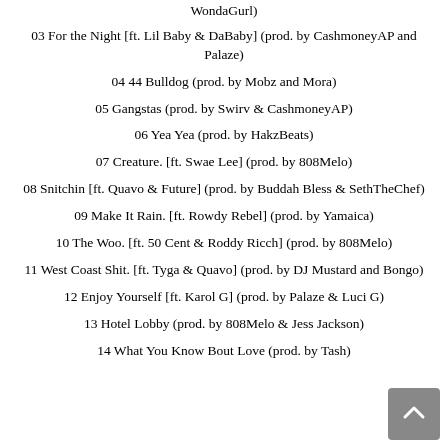WondaGurl)
03 For the Night [ft. Lil Baby & DaBaby] (prod. by CashmoneyAP and Palaze)
04 44 Bulldog (prod. by Mobz and Mora)
05 Gangstas (prod. by Swirv & CashmoneyAP)
06 Yea Yea (prod. by HakzBeats)
07 Creature. [ft. Swae Lee] (prod. by 808Melo)
08 Snitchin [ft. Quavo & Future] (prod. by Buddah Bless & SethTheChef)
09 Make It Rain. [ft. Rowdy Rebel] (prod. by Yamaica)
10 The Woo. [ft. 50 Cent & Roddy Ricch] (prod. by 808Melo)
11 West Coast Shit. [ft. Tyga & Quavo] (prod. by DJ Mustard and Bongo)
12 Enjoy Yourself [ft. Karol G] (prod. by Palaze & Luci G)
13 Hotel Lobby (prod. by 808Melo & Jess Jackson)
14 What You Know Bout Love (prod. by Tash)